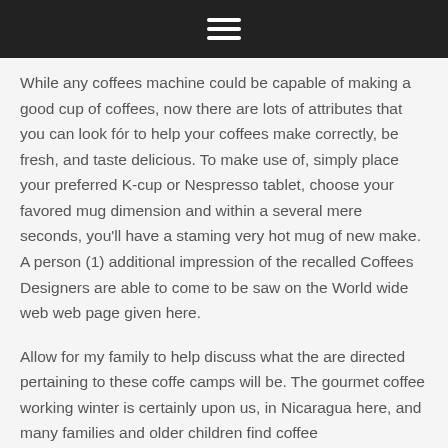While any coffees machine could be capable of making a good cup of coffees, now there are lots of attributes that you can look fór to help your coffees make correctly, be fresh, and taste delicious. To make use of, simply place your preferred K-cup or Nespresso tablet, choose your favored mug dimension and within a several mere seconds, you'll have a staming very hot mug of new make. A person (1) additional impression of the recalled Coffees Designers are able to come to be saw on the World wide web web page given here.
Allow for my family to help discuss what the are directed pertaining to these coffe camps will be. The gourmet coffee working winter is certainly upon us, in Nicaragua here, and many families and older children find coffee